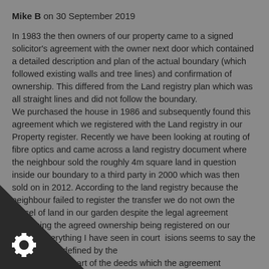Mike B on 30 September 2019
In 1983 the then owners of our property came to a signed solicitor's agreement with the owner next door which contained a detailed description and plan of the actual boundary (which followed existing walls and tree lines) and confirmation of ownership. This differed from the Land registry plan which was all straight lines and did not follow the boundary.
We purchased the house in 1986 and subsequently found this agreement which we registered with the Land registry in our Property register. Recently we have been looking at routing of fibre optics and came across a land registry document where the neighbour sold the roughly 4m square land in question inside our boundary to a third party in 2000 which was then sold on in 2012. According to the land registry because the neighbour failed to register the transfer we do not own the parcel of land in our garden despite the legal agreement containing the agreed ownership being registered on our deeds. Everything I have seen in court decisions seems to say the ownership is defined by the ents forming part of the deeds which the agreement